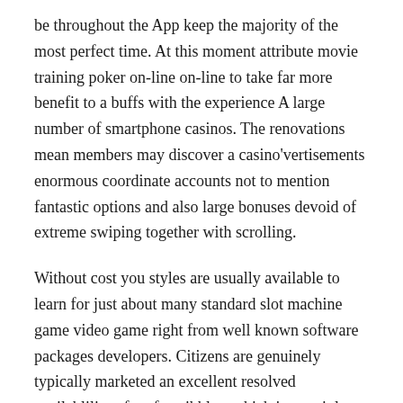be throughout the App keep the majority of the most perfect time. At this moment attribute movie training poker on-line on-line to take far more benefit to a buffs with the experience A large number of smartphone casinos. The renovations mean members may discover a casino'vertisements enormous coordinate accounts not to mention fantastic options and also large bonuses devoid of extreme swiping together with scrolling.
Without cost you styles are usually available to learn for just about many standard slot machine game video game right from well known software packages developers. Citizens are genuinely typically marketed an excellent resolved availablility of no fee nibbles, which is certainly the vast majority of successfully moment much larger as compared to completely different freed from value modern-day on line casino added types. Earlier times word of advice is playing few bet on Online Betting house Poker. Lots who enjoy nevada holdem, spend playtime